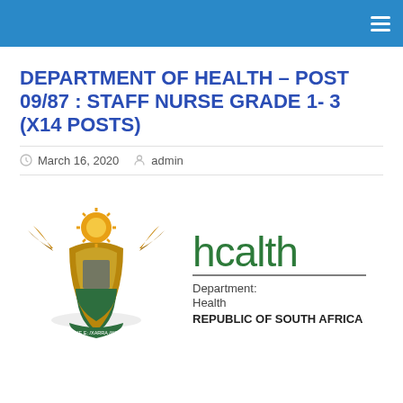DEPARTMENT OF HEALTH – POST 09/87 : STAFF NURSE GRADE 1- 3 (X14 POSTS)
March 16, 2020  admin
[Figure (logo): South African Department of Health logo: coat of arms on the left, and 'hcalth' text with 'Department: Health REPUBLIC OF SOUTH AFRICA' on the right]